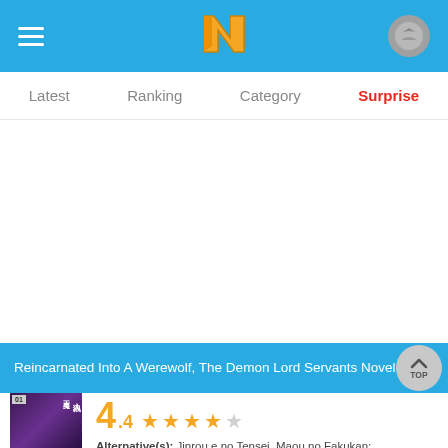Navigation bar with hamburger menu, N logo, and user avatar
Latest
Ranking
Category
Surprise
Reincarnated Into A Werewolf, The Demon Lord Servants Novel
4.4 ★★★★☆
Alternative(s): Jinrou e no Tensei, Maou no Fakukan;